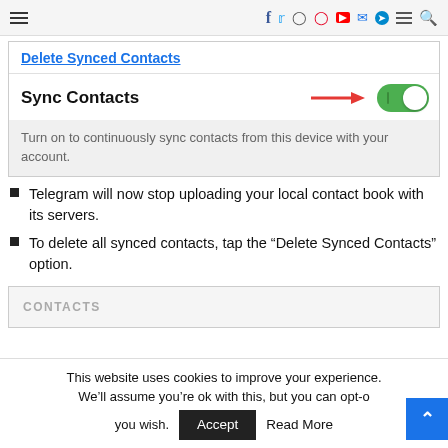Navigation header with hamburger menu, social icons (Facebook, Twitter, Instagram, Pinterest, YouTube, Email, Telegram), menu, and search
[Figure (screenshot): Screenshot of a mobile app settings screen showing 'Delete Synced Contacts' link at top, then 'Sync Contacts' row with a red arrow pointing to a green toggle switch (turned on, left position showing knob on right), and a gray description area reading 'Turn on to continuously sync contacts from this device with your account.']
Telegram will now stop uploading your local contact book with its servers.
To delete all synced contacts, tap the “Delete Synced Contacts” option.
[Figure (screenshot): Partial screenshot showing a 'CONTACTS' section header in a gray settings panel]
This website uses cookies to improve your experience. We’ll assume you’re ok with this, but you can opt-o... you wish.
Accept   Read More